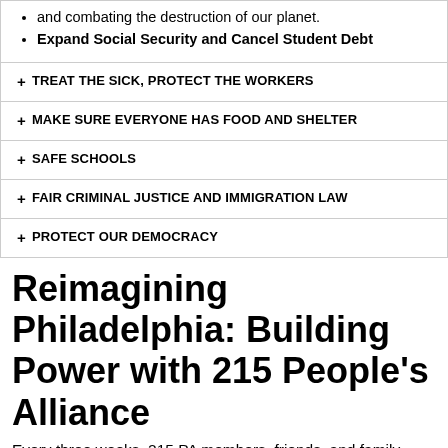and combating the destruction of our planet.
Expand Social Security and Cancel Student Debt
+ TREAT THE SICK, PROTECT THE WORKERS
+ MAKE SURE EVERYONE HAS FOOD AND SHELTER
+ SAFE SCHOOLS
+ FAIR CRIMINAL JUSTICE AND IMMIGRATION LAW
+ PROTECT OUR DEMOCRACY
Reimagining Philadelphia: Building Power with 215 People's Alliance
Every three weeks, 215 PA members, friends, and family gather together to discuss, learn, and build...